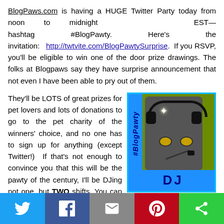BlogPaws.com is having a HUGE Twitter Party today from noon to midnight EST—hashtag #BlogPawty. Here's the invitation: http://twtvite.com/BlogPawtySurprise. If you RSVP, you'll be eligible to win one of the door prize drawings. The folks at Blogpaws say they have surprise announcement that not even I have been able to pry out of them.
[Figure (illustration): A cat wearing headphones and a microphone, with '#BlogPawty' text on a blue sidebar, and 'DJ' label at the bottom on a blue background. Yellow polka-dot background behind the cat.]
They'll be LOTS of great prizes for pet lovers and lots of donations to go to the pet charity of the winners' choice, and no one has to sign up for anything (except Twitter!)  If that's not enough to convince you that this will be the pawty of the century, I'll be DJing not one, but TWO shifts. You can hear me spin tunes from 3-4 pm and then again from 8-9 pm. Stop by and say "hello" or just "meow." Right before my second shift, there'll be a concert by the world famous Shibbering Cheetos that you won't want to miss. In the past, I've been able to get onstage
[Figure (infographic): Social sharing buttons bar at the bottom: Twitter (blue), Facebook (dark blue), Email (gray), Pinterest (red), Other/share (green)]